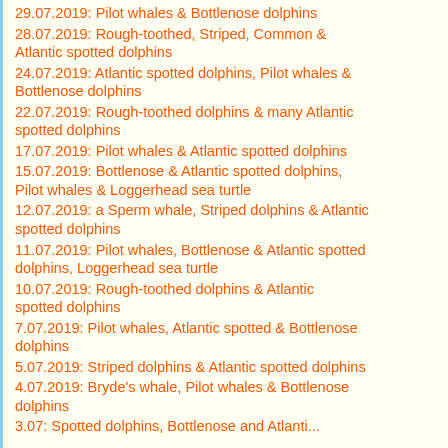29.07.2019: Pilot whales & Bottlenose dolphins
28.07.2019: Rough-toothed, Striped, Common & Atlantic spotted dolphins
24.07.2019: Atlantic spotted dolphins, Pilot whales & Bottlenose dolphins
22.07.2019: Rough-toothed dolphins & many Atlantic spotted dolphins
17.07.2019: Pilot whales & Atlantic spotted dolphins
15.07.2019: Bottlenose & Atlantic spotted dolphins, Pilot whales & Loggerhead sea turtle
12.07.2019: a Sperm whale, Striped dolphins & Atlantic spotted dolphins
11.07.2019: Pilot whales, Bottlenose & Atlantic spotted dolphins, Loggerhead sea turtle
10.07.2019: Rough-toothed dolphins & Atlantic spotted dolphins
7.07.2019: Pilot whales, Atlantic spotted & Bottlenose dolphins
5.07.2019: Striped dolphins & Atlantic spotted dolphins
4.07.2019: Bryde's whale, Pilot whales & Bottlenose dolphins
3.07: Spotted dolphins, Bottlenose and Atlanti...